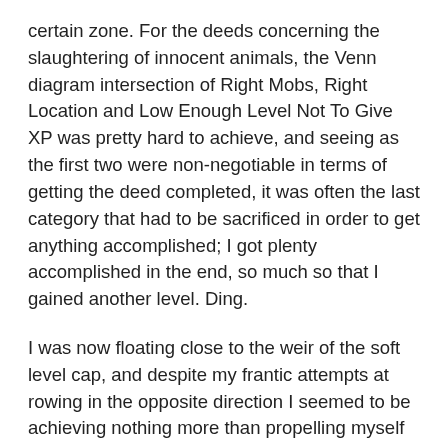certain zone. For the deeds concerning the slaughtering of innocent animals, the Venn diagram intersection of Right Mobs, Right Location and Low Enough Level Not To Give XP was pretty hard to achieve, and seeing as the first two were non-negotiable in terms of getting the deed completed, it was often the last category that had to be sacrificed in order to get anything accomplished; I got plenty accomplished in the end, so much so that I gained another level. Ding.
I was now floating close to the weir of the soft level cap, and despite my frantic attempts at rowing in the opposite direction I seemed to be achieving nothing more than propelling myself into a faster current, thus threatening not to simply approach the barrier but launch myself past it at pace and on and down to deeper levels. I resolved to complete the final deed I wanted – completing low level quests in the Shire – and then, despite my current joy at playing the game, hang-up my character and wait until the group had progressed through the epic storyline somewhat